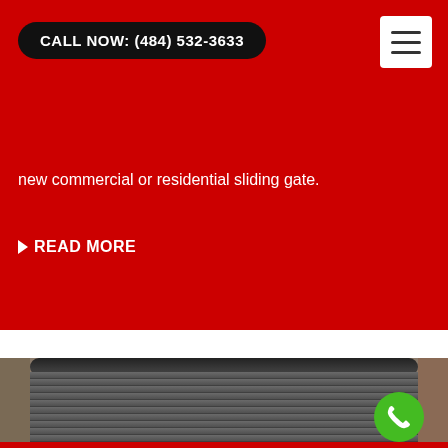CALL NOW: (484) 532-3633
new commercial or residential sliding gate.
READ MORE
[Figure (photo): Photo of a commercial rolling shutter/gate on a storefront in an urban setting, with brick buildings visible in background. A green phone call button overlay is visible in the lower right.]